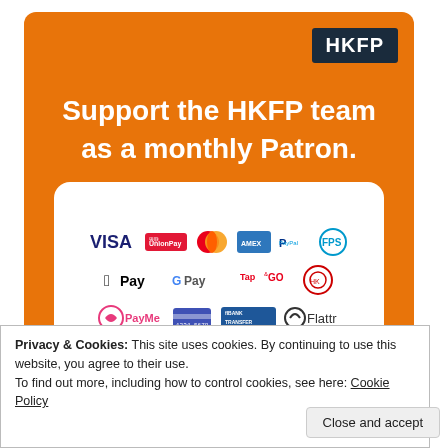[Figure (infographic): Orange promotional card for HKFP (Hong Kong Free Press) with HKFP logo in dark background top right, headline text 'Support the HKFP team as a monthly Patron.' and payment method logos including Visa, UnionPay, Mastercard, American Express, PayPal, FPS, Apple Pay, Google Pay, Tap&Go, PayMe, Bank Transfer, Flattr]
Privacy & Cookies: This site uses cookies. By continuing to use this website, you agree to their use.
To find out more, including how to control cookies, see here: Cookie Policy
Close and accept